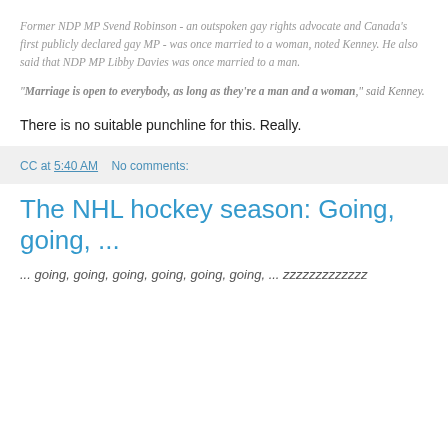Former NDP MP Svend Robinson - an outspoken gay rights advocate and Canada's first publicly declared gay MP - was once married to a woman, noted Kenney. He also said that NDP MP Libby Davies was once married to a man.
"Marriage is open to everybody, as long as they're a man and a woman," said Kenney.
There is no suitable punchline for this. Really.
CC at 5:40 AM   No comments:
The NHL hockey season: Going, going, ...
... going, going, going, going, going, going, ... zzzzzzzzzzzzz